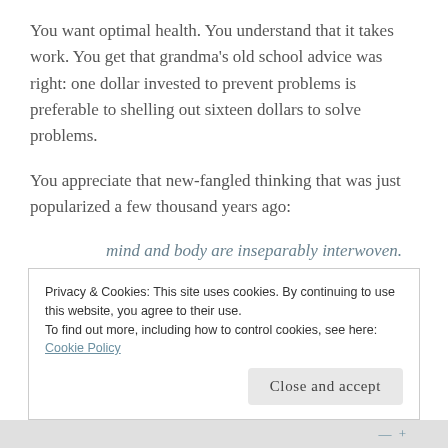You want optimal health. You understand that it takes work. You get that grandma's old school advice was right: one dollar invested to prevent problems is preferable to shelling out sixteen dollars to solve problems.
You appreciate that new-fangled thinking that was just popularized a few thousand years ago:
mind and body are inseparably interwoven.
Now then, since mind and body are inseparable it
Privacy & Cookies: This site uses cookies. By continuing to use this website, you agree to their use.
To find out more, including how to control cookies, see here: Cookie Policy
Close and accept